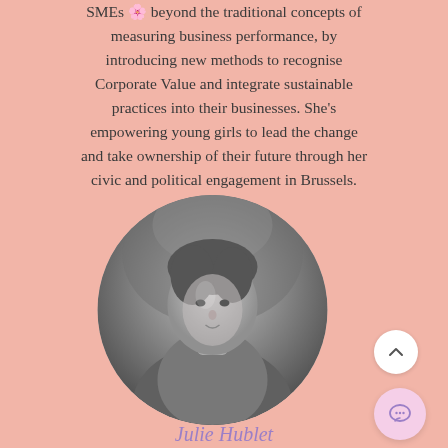SMEs goes beyond the traditional concepts of measuring business performance, by introducing new methods to recognise Corporate Value and integrate sustainable practices into their businesses. She's empowering young girls to lead the change and take ownership of their future through her civic and political engagement in Brussels.
[Figure (photo): Circular portrait photo of Julie Hublet, black and white/grayscale, showing a person from mid-torso up]
Julie Hublet